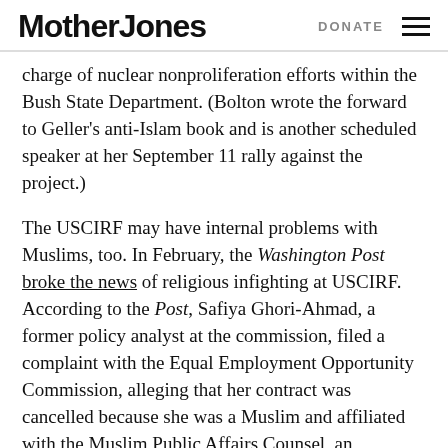Mother Jones   DONATE
charge of nuclear nonproliferation efforts within the Bush State Department. (Bolton wrote the forward to Geller's anti-Islam book and is another scheduled speaker at her September 11 rally against the project.)
The USCIRF may have internal problems with Muslims, too. In February, the Washington Post broke the news of religious infighting at USCIRF. According to the Post, Safiya Ghori-Ahmad, a former policy analyst at the commission, filed a complaint with the Equal Employment Opportunity Commission, alleging that her contract was cancelled because she was a Muslim and affiliated with the Muslim Public Affairs Counsel, an